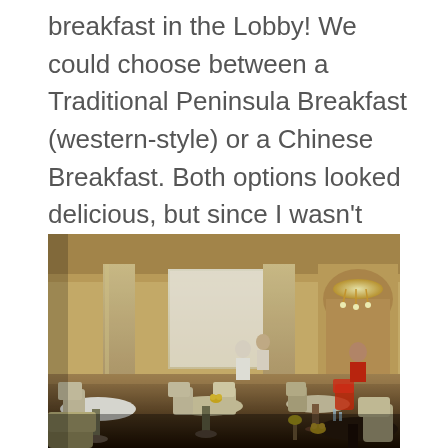breakfast in the Lobby! We could choose between a Traditional Peninsula Breakfast (western-style) or a Chinese Breakfast. Both options looked delicious, but since I wasn't overly hungry, I opted for the traditional breakfast.
[Figure (photo): Interior of a luxury hotel lobby restaurant/dining area with ornate gold and cream decor, arched doorways, chandeliers, white tablecloths, beige/cream upholstered chairs, and dining guests visible in the background.]